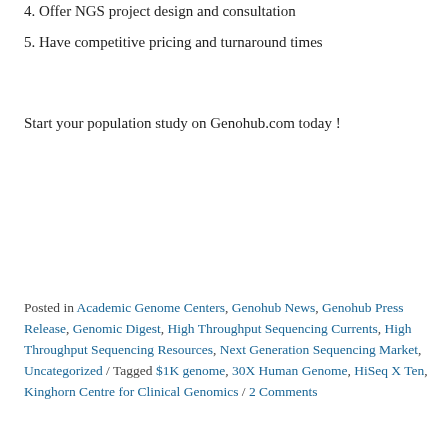4. Offer NGS project design and consultation
5. Have competitive pricing and turnaround times
Start your population study on Genohub.com today !
Posted in Academic Genome Centers, Genohub News, Genohub Press Release, Genomic Digest, High Throughput Sequencing Currents, High Throughput Sequencing Resources, Next Generation Sequencing Market, Uncategorized / Tagged $1K genome, 30X Human Genome, HiSeq X Ten, Kinghorn Centre for Clinical Genomics / 2 Comments